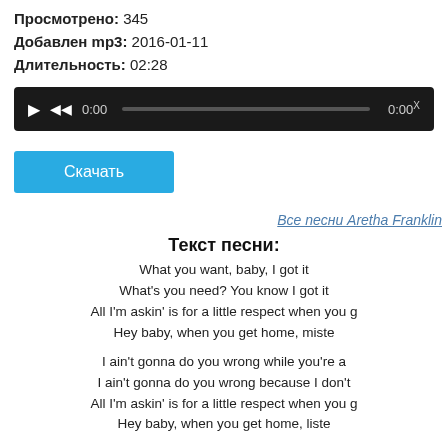Просмотрено: 345
Добавлен mp3: 2016-01-11
Длительность: 02:28
[Figure (other): Audio player widget with play button, rewind button, time display 0:00, progress bar, and end time 0:00]
Скачать
Все песни Aretha Franklin
Текст песни:
What you want, baby, I got it
What's you need? You know I got it
All I'm askin' is for a little respect when you g
Hey baby, when you get home, miste
I ain't gonna do you wrong while you're a
I ain't gonna do you wrong because I don't
All I'm askin' is for a little respect when you g
Hey baby, when you get home, liste
I'm about to give all of my money
And all I'm askin' in return, honey